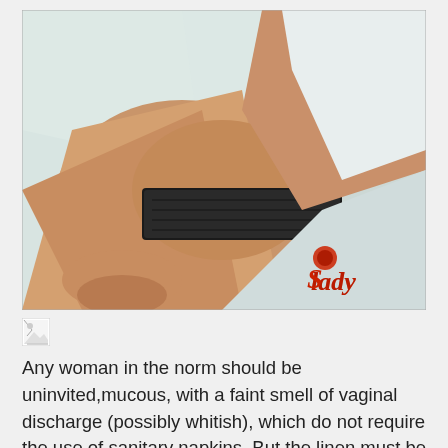[Figure (photo): A woman lying on white bed linen wearing black lace underwear, photo watermarked with 'Lady' logo in bottom right corner]
[Figure (photo): Small broken/loading image icon]
Any woman in the norm should be uninvited,mucous, with a faint smell of vaginal discharge (possibly whitish), which do not require the use of sanitary napkins. But the linen must be